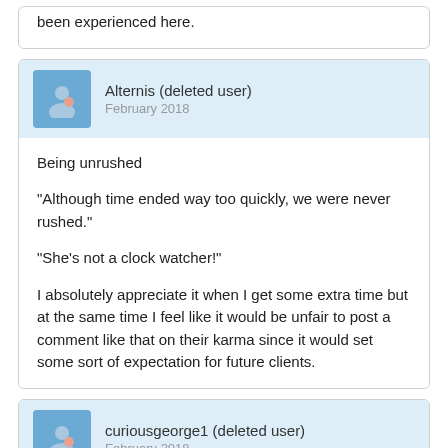been experienced here.
Alternis (deleted user)
February 2018
Being unrushed

"Although time ended way too quickly, we were never rushed."

"She's not a clock watcher!"

I absolutely appreciate it when I get some extra time but at the same time I feel like it would be unfair to post a comment like that on their karma since it would set some sort of expectation for future clients.
curiousgeorge1 (deleted user)
February 2018